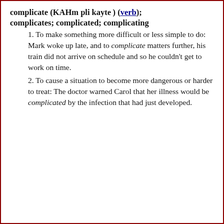complicate (KAHm pli kayte) (verb); complicates; complicated; complicating
1. To make something more difficult or less simple to do: Mark woke up late, and to complicate matters further, his train did not arrive on schedule and so he couldn't get to work on time.
2. To cause a situation to become more dangerous or harder to treat: The doctor warned Carol that her illness would be complicated by the infection that had just developed.